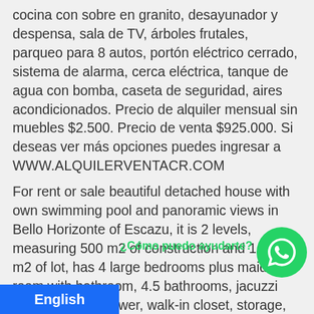cocina con sobre en granito, desayunador y despensa, sala de TV, árboles frutales, parqueo para 8 autos, portón eléctrico cerrado, sistema de alarma, cerca eléctrica, tanque de agua con bomba, caseta de seguridad, aires acondicionados. Precio de alquiler mensual sin muebles $2.500. Precio de venta $925.000. Si deseas ver más opciones puedes ingresar a WWW.ALQUILERVENTACR.COM
For rent or sale beautiful detached house with own swimming pool and panoramic views in Bello Horizonte of Escazu, it is 2 levels, measuring 500 m2 of construction and 1,300 m2 of lot, has 4 large bedrooms plus maid's room with bathroom, 4.5 bathrooms, jacuzzi and separate shower, walk-in closet, storage, heated swimming pool with Jacuzzi,
¿Cómo puedo ayudarte?
English